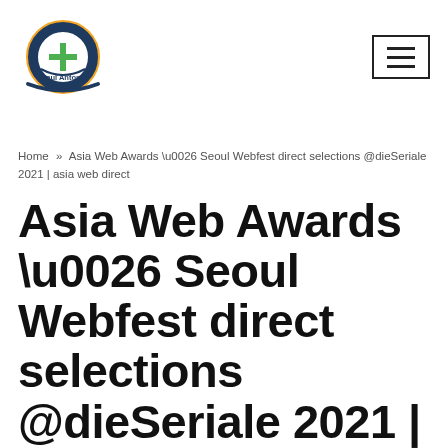[Figure (logo): Paul Antony logo — a gear shape in dark navy blue outline with an orange/yellow outer gear, a green cross/plus symbol in the center circle, and 'Paul Antony' text in navy at the bottom]
Home » Asia Web Awards \u0026 Seoul Webfest direct selections @dieSeriale 2021 | asia web direct
Asia Web Awards \u0026 Seoul Webfest direct selections @dieSeriale 2021 | asia